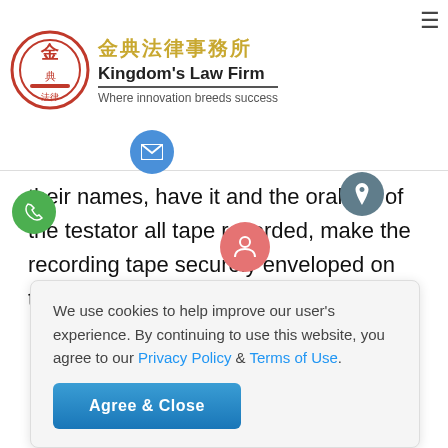金典法律事務所 Kingdom's Law Firm — Where innovation breeds success
y, and sign together with the witnesses. The testator must designate two or more witnesses, stating the testamentary witness, his name, the year, month and day; all the witnesses must make an oral statements to the genuineness of such will and
their names, have it and the oral will of the testator all tape recorded, make the recording tape securely enveloped on the spot, bear the year, month and day
We use cookies to help improve our user's experience. By continuing to use this website, you agree to our Privacy Policy & Terms of Use.
Agree & Close